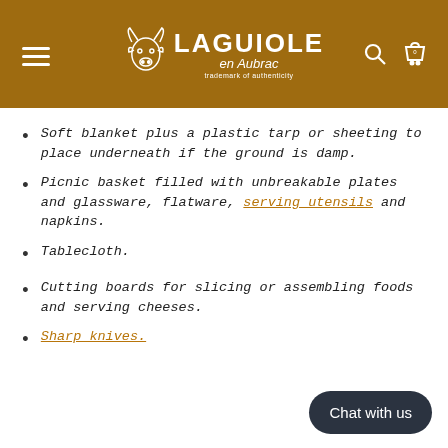LAGUIOLE en Aubrac - trademark of authenticity
Soft blanket plus a plastic tarp or sheeting to place underneath if the ground is damp.
Picnic basket filled with unbreakable plates and glassware, flatware, serving utensils and napkins.
Tablecloth.
Cutting boards for slicing or assembling foods and serving cheeses.
Sharp knives.